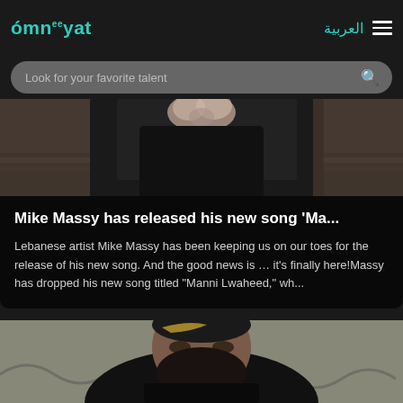omneeyat
العربية
Look for your favorite talent
[Figure (photo): Partial view of a person in dark clothing holding a floral bouquet, photographed from behind/side angle]
Mike Massy has released his new song 'Ma...
Lebanese artist Mike Massy has been keeping us on our toes for the release of his new song. And the good news is … it's finally here!Massy has dropped his new song titled "Manni Lwaheed," wh...
[Figure (photo): Portrait of a bearded man with dark hair with blonde highlights, wearing a black jacket, photographed from a low angle in an outdoor setting]